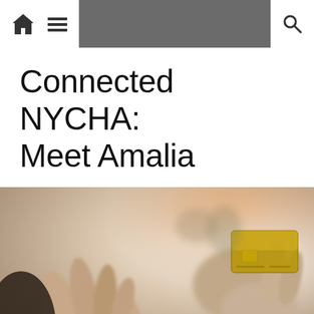home menu search navigation bar
Connected NYCHA:
Meet Amalia
[Figure (photo): Close-up photo of a person's hands using a tablet/touchscreen device while holding a gold credit card, with a blurred background showing warm orange and neutral tones.]